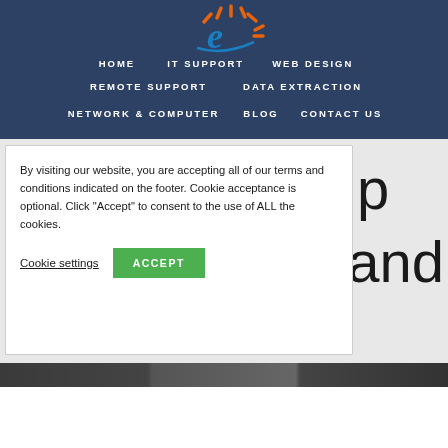[Figure (logo): Stylized letter e logo with orange and blue swoosh lines]
HOME   IT SUPPORT   WEB DESIGN   REMOTE SUPPORT   DATA EXTRACTION   NETWORK & COMPUTER   BLOG   CONTACT US
By visiting our website, you are accepting all of our terms and conditions indicated on the footer. Cookie acceptance is optional. Click “Accept” to consent to the use of ALL the cookies.
Cookie settings   ACCEPT
Up   : and